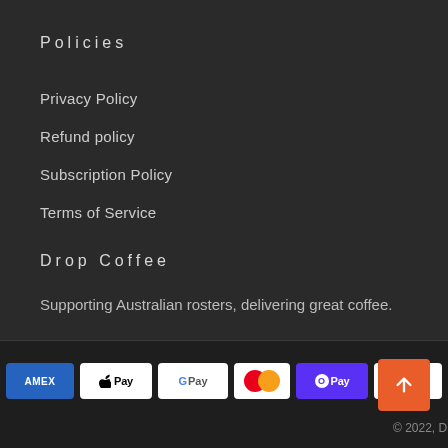Policies
Privacy Policy
Refund policy
Subscription Policy
Terms of Service
Drop Coffee
Supporting Australian rosters, delivering great coffee.
[Figure (other): Payment method icons: American Express, Apple Pay, Google Pay, Mastercard, Shop Pay, Visa. Orange back-to-top arrow button.]
© 2022, Drop Coffee